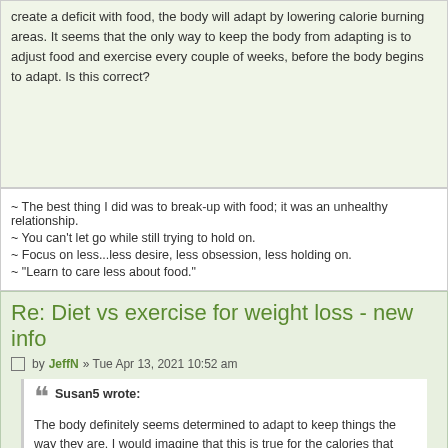create a deficit with food, the body will adapt by lowering calorie burning areas. It seems that the only way to keep the body from adapting is to adjust food and exercise every couple of weeks, before the body begins to adapt. Is this correct?
~ The best thing I did was to break-up with food; it was an unhealthy relationship.
~ You can't let go while still trying to hold on.
~ Focus on less...less desire, less obsession, less holding on.
~ "Learn to care less about food."
Re: Diet vs exercise for weight loss - new info
by JeffN » Tue Apr 13, 2021 10:52 am
Susan5 wrote: The body definitely seems determined to adapt to keep things the way they are. I would imagine that this is true for the calories that come from food as well, if we create a deficit with food, the body will adapt by lowering calorie burn in other areas. It seems that the only way to keep the body from adapting is to adjust your food and exercise every couple of weeks, before the body begins to adapt. Is this correct?
For most everyone, the issue is energy balance and diet is the most important factor. Understanding calorie density and satiety allow us to lower calories